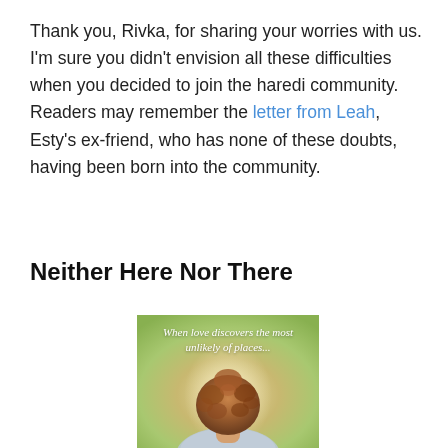Thank you, Rivka, for sharing your worries with us. I'm sure you didn't envision all these difficulties when you decided to join the haredi community. Readers may remember the letter from Leah, Esty's ex-friend, who has none of these doubts, having been born into the community.
Neither Here Nor There
[Figure (illustration): Book cover image showing the back of a person's head with curly hair, outdoor blurred background. Text overlay reads: 'When love discovers the most unlikely of places...']